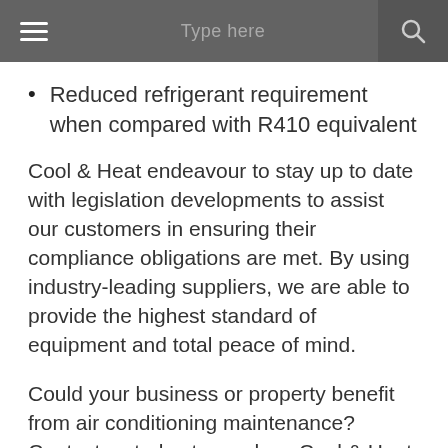Type here
Reduced refrigerant requirement when compared with R410 equivalent
Cool & Heat endeavour to stay up to date with legislation developments to assist our customers in ensuring their compliance obligations are met. By using industry-leading suppliers, we are able to provide the highest standard of equipment and total peace of mind.
Could your business or property benefit from air conditioning maintenance? Contact us today to see how Cool & Heat can help save you money and improve efficiency.